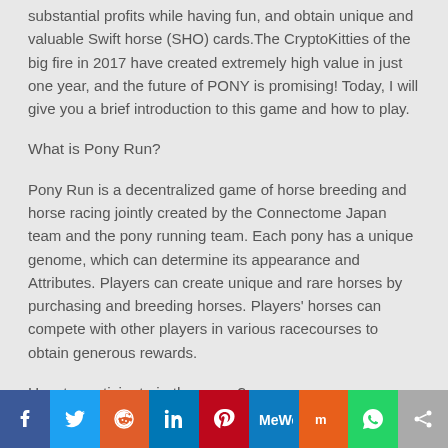substantial profits while having fun, and obtain unique and valuable Swift horse (SHO) cards.The CryptoKitties of the big fire in 2017 have created extremely high value in just one year, and the future of PONY is promising! Today, I will give you a brief introduction to this game and how to play.
What is Pony Run?
Pony Run is a decentralized game of horse breeding and horse racing jointly created by the Connectome Japan team and the pony running team. Each pony has a unique genome, which can determine its appearance and Attributes. Players can create unique and rare horses by purchasing and breeding horses. Players' horses can compete with other players in various racecourses to obtain generous rewards.
How to participate in the game?
Enter Pony Run from mainstream wallets (game link
[Figure (infographic): Social media sharing bar with icons: Facebook, Twitter, Reddit, LinkedIn, Pinterest, MeWe, Mix, WhatsApp, Share]